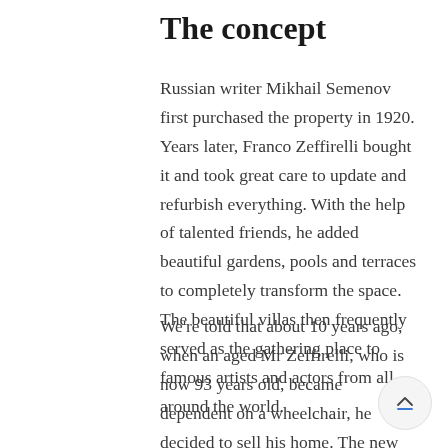The concept
Russian writer Mikhail Semenov first purchased the property in 1920. Years later, Franco Zeffirelli bought it and took great care to update and refurbish everything. With the help of talented friends, he added beautiful gardens, pools and terraces to completely transform the space. The beautiful villas then frequently served as the gathering place to famous artists and actors from all around the world.
We're told that about 10 years ago, when an aged Mr Zeffirelli, who is now 93 years old, became dependent on a wheelchair, he decided to sell his home. The new owners meticulously enhanced the